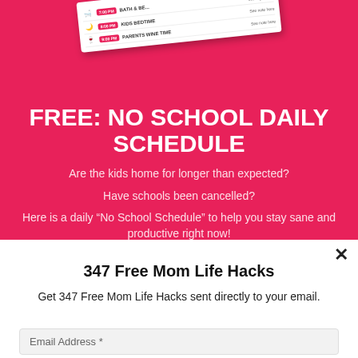[Figure (illustration): A schedule card/printable showing a daily schedule with rows for Bath & Bed time, Kids Bedtime, and Parents Wine Time, displayed at an angle on a pink/red background.]
FREE: NO SCHOOL DAILY SCHEDULE
Are the kids home for longer than expected?
Have schools been cancelled?
Here is a daily “No School Schedule” to help you stay sane and productive right now!
347 Free Mom Life Hacks
Get 347 Free Mom Life Hacks sent directly to your email.
Email Address *